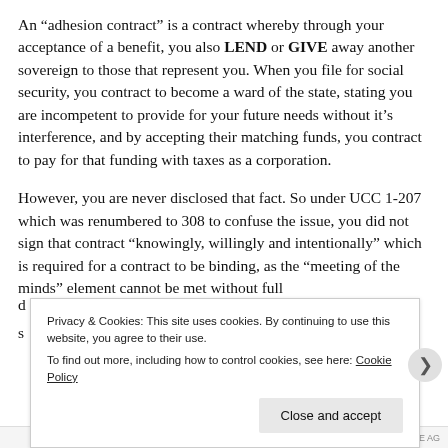An “adhesion contract” is a contract whereby through your acceptance of a benefit, you also LEND or GIVE away another sovereign to those that represent you. When you file for social security, you contract to become a ward of the state, stating you are incompetent to provide for your future needs without it’s interference, and by accepting their matching funds, you contract to pay for that funding with taxes as a corporation.
However, you are never disclosed that fact. So under UCC 1-207 which was renumbered to 308 to confuse the issue, you did not sign that contract “knowingly, willingly and intentionally” which is required for a contract to be binding, as the “meeting of the minds” element cannot be met without full d... s...
Privacy & Cookies: This site uses cookies. By continuing to use this website, you agree to their use.
To find out more, including how to control cookies, see here: Cookie Policy